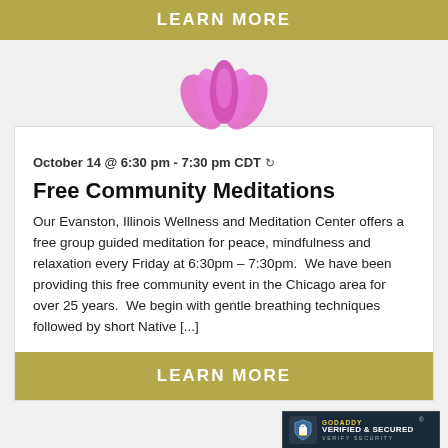LEARN MORE
[Figure (illustration): Pink lotus flower icon]
October 14 @ 6:30 pm - 7:30 pm CDT ↻
Free Community Meditations
Our Evanston, Illinois Wellness and Meditation Center offers a free group guided meditation for peace, mindfulness and relaxation every Friday at 6:30pm – 7:30pm.  We have been providing this free community event in the Chicago area for over 25 years.  We begin with gentle breathing techniques followed by short Native [...]
LEARN MORE